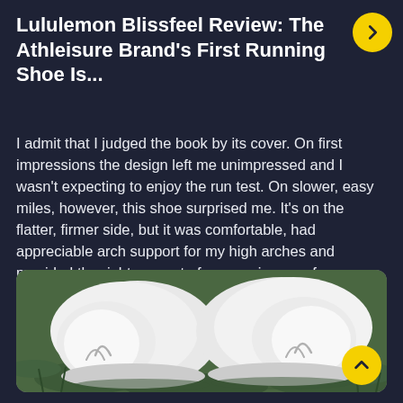Lululemon Blissfeel Review: The Athleisure Brand's First Running Shoe Is...
I admit that I judged the book by its cover. On first impressions the design left me unimpressed and I wasn't expecting to enjoy the run test. On slower, easy miles, however, this shoe surprised me. It's on the flatter, firmer side, but it was comfortable, had appreciable arch support for my high arches and provided the right amount of responsiveness for easy runs.
[Figure (photo): Close-up photo of the back of two white Lululemon Blissfeel running shoes placed heel-to-heel on green grass, showing the brand logo on the heel.]